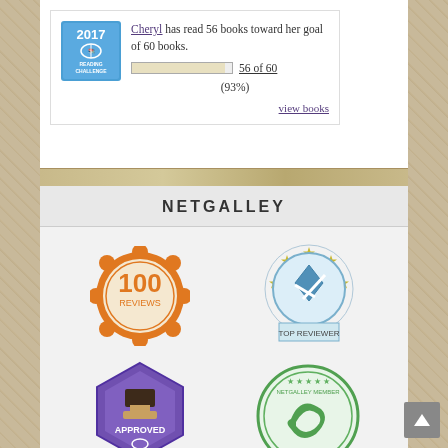[Figure (other): 2017 Goodreads Reading Challenge badge/widget showing Cheryl has read 56 books toward her goal of 60 books, with a progress bar showing 56 of 60 (93%), and a 'view books' link]
NETGALLEY
[Figure (other): NetGalley 100 Reviews badge - orange scalloped circle with '100 REVIEWS' text]
[Figure (other): NetGalley Top Reviewer badge - blue circular badge with stars and pentagon/shield icon]
[Figure (other): NetGalley Approved badge - purple hexagon with stamp/approved imagery]
[Figure (other): NetGalley Member Professional Reader badge - green circular badge with swoosh logo]